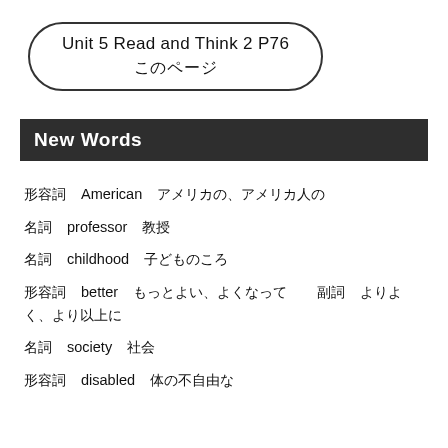Unit 5 Read and Think 2 P76
このページ
New Words
形容詞　American　アメリカの、アメリカ人の
名詞　professor　教授
名詞　childhood　子どものころ
形容詞　better　もっとよい、よくなって　副詞　よりよく、より以上に
名詞　society　社会
形容詞　disabled　体の不自由な